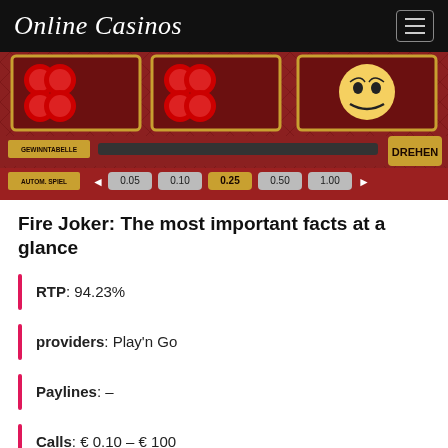Online Casinos
[Figure (screenshot): Fire Joker slot machine game interface showing reels with cherries and a joker symbol, with bet controls including GEWINNTABELLE, AUTOM. SPIEL, bet amounts 0.05, 0.10, 0.25, 0.50, 1.00, and a DREHEN button]
Fire Joker: The most important facts at a glance
RTP: 94.23%
providers: Play'n Go
Paylines: –
Calls: € 0.10 – € 100